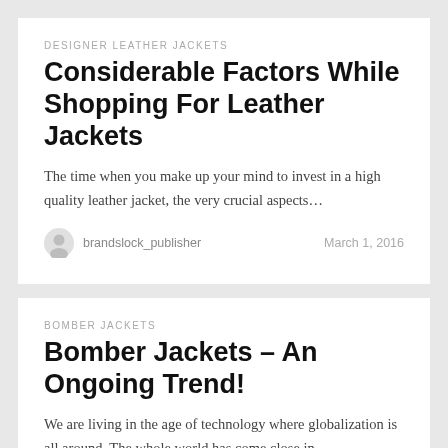DESIGNER LEATHER JACKETS
Considerable Factors While Shopping For Leather Jackets
The time when you make up your mind to invest in a high quality leather jacket, the very crucial aspects…
brandslock_publisher   March 1, 2016
BOMBER JACKETS
Bomber Jackets – An Ongoing Trend!
We are living in the age of technology where globalization is all around. The whole world has come close in…